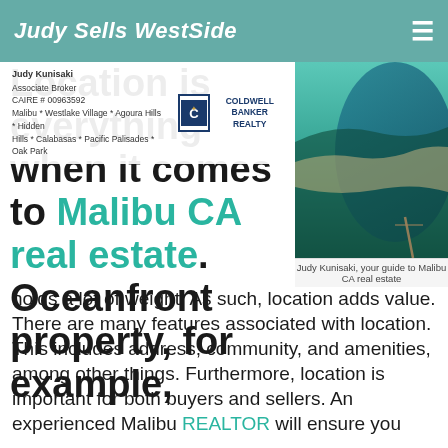Judy Sells WestSide
Judy Kunisaki
Associate Broker
CAIRE # 00963592
Malibu * Westlake Village * Agoura Hills * Hidden Hills * Calabasas * Pacific Palisades * Oak Park
[Figure (photo): Aerial view of Malibu CA coastline showing beach, pier, and mountains]
Location is everything when it comes to Malibu CA real estate. Oceanfront property, for example,
Judy Kunisaki, your guide to Malibu CA real estate
holds a lot of weight. As such, location adds value. There are many features associated with location. This includes address, community, and amenities, among other things. Furthermore, location is important for both buyers and sellers. An experienced Malibu REALTOR will ensure you